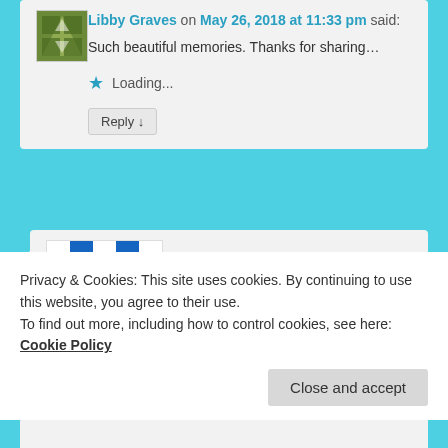Libby Graves on May 26, 2018 at 11:33 pm said:
Such beautiful memories. Thanks for sharing…
Loading...
Reply ↓
Linda Easley on May 26, 2018 at 11:36 pm said:
Privacy & Cookies: This site uses cookies. By continuing to use this website, you agree to their use.
To find out more, including how to control cookies, see here: Cookie Policy
Close and accept